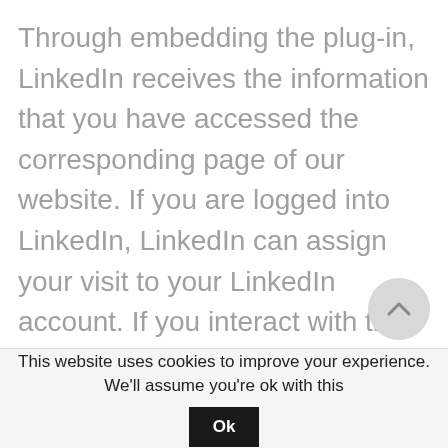Through embedding the plug-in, LinkedIn receives the information that you have accessed the corresponding page of our website. If you are logged into LinkedIn, LinkedIn can assign your visit to your LinkedIn account. If you interact with the plug-ins, e.g. add a comment, your browser transmits the corresponding information directly to LinkedIn, where it is stored. Please refer to
This website uses cookies to improve your experience. We'll assume you're ok with this  Ok